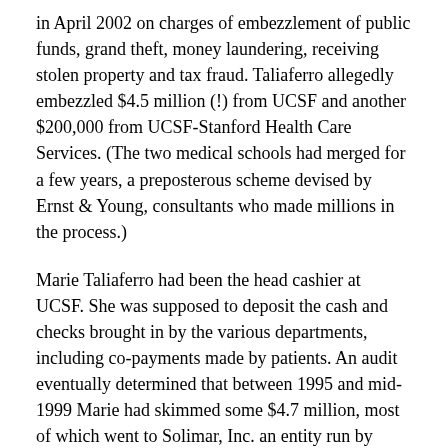in April 2002 on charges of embezzlement of public funds, grand theft, money laundering, receiving stolen property and tax fraud. Taliaferro allegedly embezzled $4.5 million (!) from UCSF and another $200,000 from UCSF-Stanford Health Care Services. (The two medical schools had merged for a few years, a preposterous scheme devised by Ernst & Young, consultants who made millions in the process.)
Marie Taliaferro had been the head cashier at UCSF. She was supposed to deposit the cash and checks brought in by the various departments, including co-payments made by patients. An audit eventually determined that between 1995 and mid-1999 Marie had skimmed some $4.7 million, most of which went to Solimar, Inc. an entity run by daughter Sunni. Solimar published two issues of a magazine called “Solimar: Living in the New Millennium,” and ran a store in Lafayette called “Wings of Solimar,” which sold angel-themed items. (At the